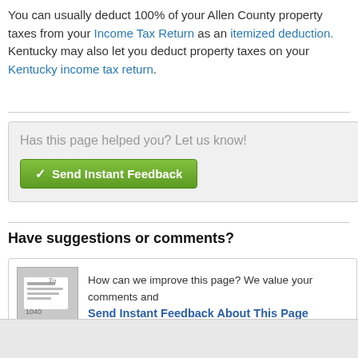You can usually deduct 100% of your Allen County property taxes from your Income Tax Return as an itemized deduction. Kentucky may also let you deduct property taxes on your Kentucky income tax return.
[Figure (other): Feedback widget box with heading 'Has this page helped you? Let us know!' and a green 'Send Instant Feedback' button]
Have suggestions or comments?
[Figure (other): Comment box with 1040 tax form image thumbnail, text 'How can we improve this page? We value your comments and' and link 'Send Instant Feedback About This Page']
Promo
Learn More:  Kentucky Income Tax  |  Kentucky Sales Tax  |  Kentucky Property Tax